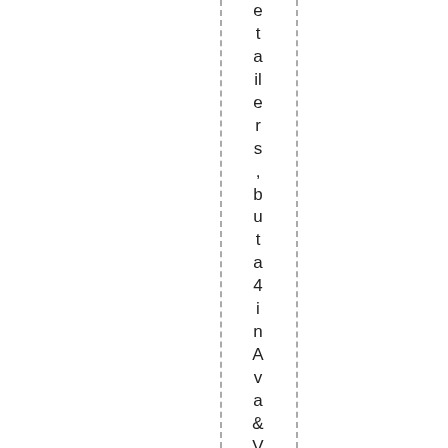etailers, but a 4 in Ava & Viv. Perfect!)